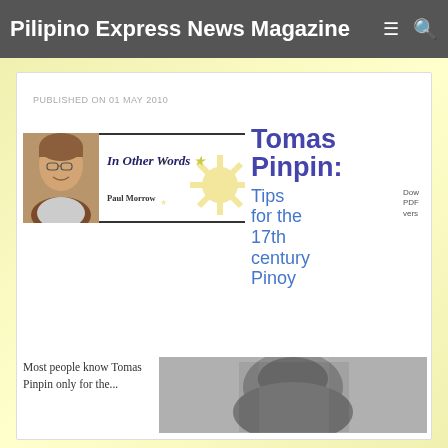Pilipino Express News Magazine
PUBLISHED ON 01 MAY 2010
[Figure (photo): Banner image for 'In Other Words' column by Paul Morrow, featuring a photo of Paul Morrow and a Philippine sun graphic]
Tomas Pinpin: Tips for the 17th century Pinoy
Most people know Tomas Pinpin only for the...
[Figure (photo): Black and white historical portrait photograph]